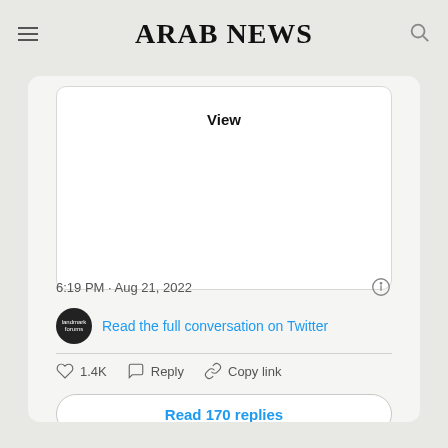ARAB NEWS
[Figure (screenshot): Embedded tweet card with 'View' placeholder for hidden media, timestamp '6:19 PM · Aug 21, 2022', a link 'Read the full conversation on Twitter', like count 1.4K, Reply and Copy link actions, and a 'Read 170 replies' button.]